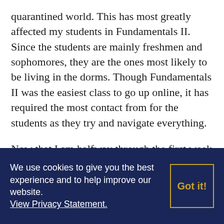quarantined world. This has most greatly affected my students in Fundamentals II. Since the students are mainly freshmen and sophomores, they are the ones most likely to be living in the dorms. Though Fundamentals II was the easiest class to go up online, it has required the most contact from for the students as they try and navigate everything.
Now that I am halfway through the first week with my courses, I am starting to notice the students and myself slipping into the new normal. I have already lessened somewhat
We use cookies to give you the best experience and to help improve our website. View Privacy Statement.